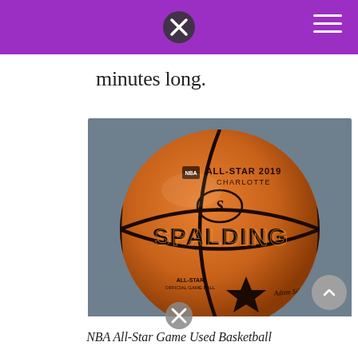minutes long.
[Figure (photo): NBA All-Star 2019 Charlotte Spalding official game basketball on a gray background. The ball shows the Spalding logo, NBA All-Star 2019 Charlotte branding at the top, and All-Star Official Game Ball text with a star logo and commissioner signature at the bottom.]
NBA All-Star Game Used Basketball